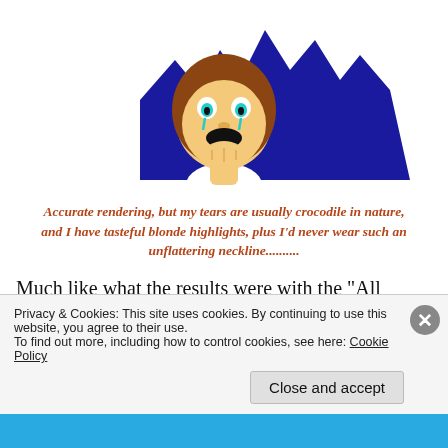[Figure (illustration): A cartoon/meme-style illustration of a person with long brown hair, crying, resting their chin on their hand, with a dark blue jagged crown/mountain shape behind them.]
Accurate rendering, but my tears are usually crocodile in nature, and I have tasteful blonde highlights, plus I'd never wear such an unflattering neckline..........
Much like what the results were with the “All Carbs Are Bad” mania from a few years ago, the anti stretching phase at the turn of the 21st century, the current fasted
Privacy & Cookies: This site uses cookies. By continuing to use this website, you agree to their use.
To find out more, including how to control cookies, see here: Cookie Policy
Close and accept